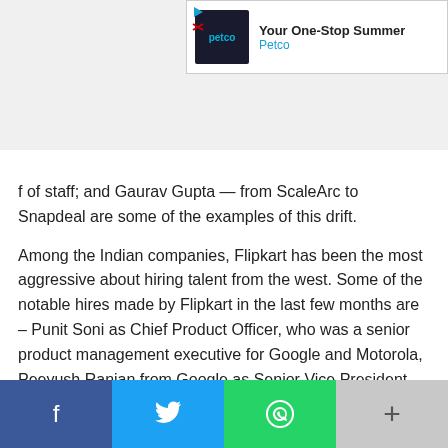[Figure (screenshot): Petco advertisement banner: dark square logo with 'petco' text, beside 'Your One-Stop Summer' headline and 'Petco' subtext in blue]
f of staff; and Gaurav Gupta — from ScaleArc to Snapdeal are some of the examples of this drift.
Among the Indian companies, Flipkart has been the most aggressive about hiring talent from the west. Some of the notable hires made by Flipkart in the last few months are – Punit Soni as Chief Product Officer, who was a senior product management executive for Google and Motorola, Peeyush Ranjan from Google as Senior Vice President and Head of Engineering, Amazon's Dan Rawson as Head of Customer Logistics and Supply Chain Ecosystems, Google's Ravi Byakod as Director of Engineering – Accounting and Anand Lakshminarayanan from Microsoft as Head of Product Management for Digital Goods and Services.
[Figure (screenshot): Social sharing bar with Facebook (blue), Twitter (light blue), WhatsApp (green), and More (+) buttons at bottom of page]